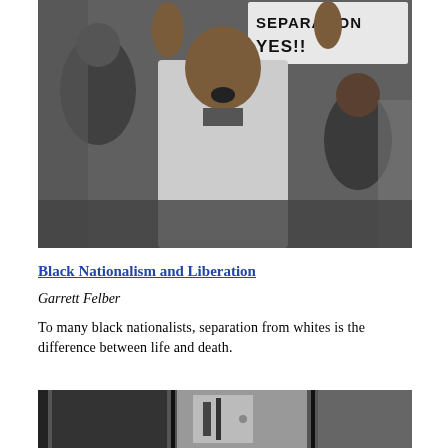[Figure (photo): Black and white photograph of a young Black man shouting at a protest, with someone behind him holding a sign reading 'SEPARATION YES!']
Black Nationalism and Liberation
Garrett Felber
To many black nationalists, separation from whites is the difference between life and death.
[Figure (photo): Black and white photograph, partially visible at bottom of page, showing what appears to be an interior scene with vertical frames or panels.]